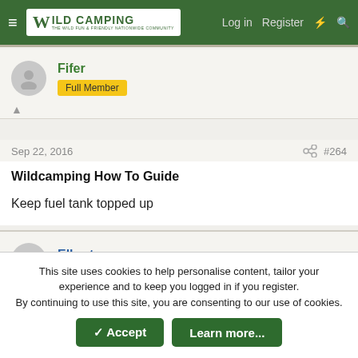Wild Camping — Log in   Register
Fifer
Full Member
Sep 22, 2016  #264
Wildcamping How To Guide
Keep fuel tank topped up
Elbert
Guest
This site uses cookies to help personalise content, tailor your experience and to keep you logged in if you register.
By continuing to use this site, you are consenting to our use of cookies.
Accept  Learn more...